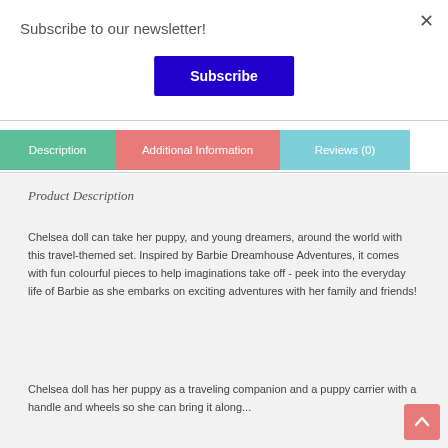×
Subscribe to our newsletter!
Subscribe
Description
Additional Information
Reviews (0)
Product Description
Chelsea doll can take her puppy, and young dreamers, around the world with this travel-themed set. Inspired by Barbie Dreamhouse Adventures, it comes with fun colourful pieces to help imaginations take off - peek into the everyday life of Barbie as she embarks on exciting adventures with her family and friends!
Chelsea doll has her puppy as a traveling companion and a puppy carrier with a handle and wheels so she can bring it along...